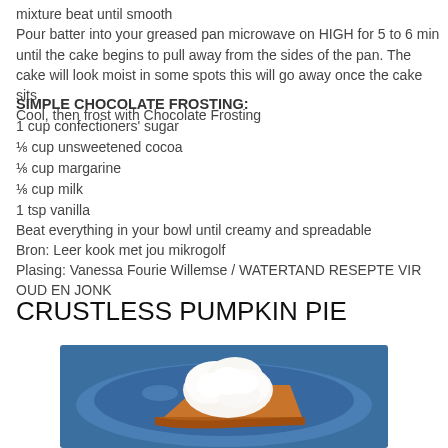mixture beat until smooth
Pour batter into your greased pan microwave on HIGH for 5 to 6 min until the cake begins to pull away from the sides of the pan. The cake will look moist in some spots this will go away once the cake sits
Cool, then frost with Chocolate Frosting
SIMPLE CHOCOLATE FROSTING:
1 cup confectioners' sugar
⅛ cup unsweetened cocoa
⅛ cup margarine
⅛ cup milk
1 tsp vanilla
Beat everything in your bowl until creamy and spreadable
Bron: Leer kook met jou mikrogolf
Plasing: Vanessa Fourie Willemse / WATERTAND RESEPTE VIR OUD EN JONK
CRUSTLESS PUMPKIN PIE
[Figure (photo): Photo of a slice of pumpkin pie on a blue plate topped with whipped cream]